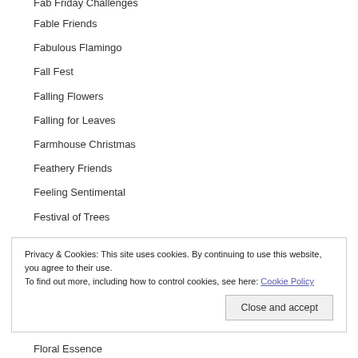Fab Friday Challenges
Fable Friends
Fabulous Flamingo
Fall Fest
Falling Flowers
Falling for Leaves
Farmhouse Christmas
Feathery Friends
Feeling Sentimental
Festival of Trees
Privacy & Cookies: This site uses cookies. By continuing to use this website, you agree to their use. To find out more, including how to control cookies, see here: Cookie Policy
Floral Essence